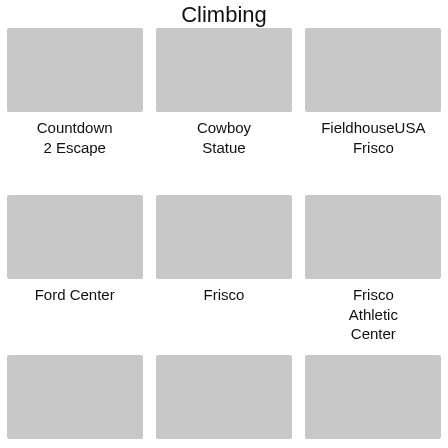Climbing
[Figure (photo): Photo of group of people (Countdown 2 Escape)]
Countdown 2 Escape
[Figure (photo): Photo of cowboy statue (horse)]
Cowboy Statue
[Figure (photo): Photo of FieldhouseUSA Frisco building]
FieldhouseUSA Frisco
[Figure (photo): Photo of Ford Center stadium]
Ford Center
[Figure (photo): Photo of Frisco train]
Frisco
[Figure (photo): Photo of Frisco Athletic Center pool area]
Frisco Athletic Center
[Figure (photo): Photo of Frisco Central Park waterfall]
Frisco Central Park
[Figure (photo): Photo of Frisco Commons pavilion]
Frisco Commons
[Figure (photo): Photo of Frisco Discovery Center sign]
Frisco Discovery